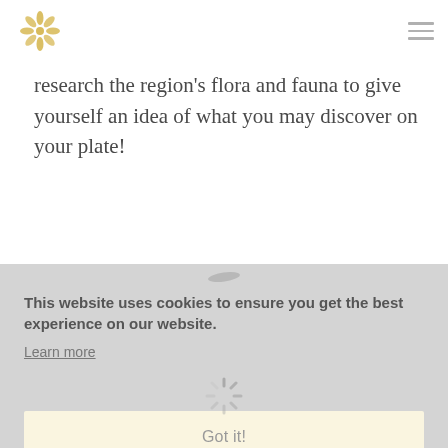research the region's flora and fauna to give yourself an idea of what you may discover on your plate!
This website uses cookies to ensure you get the best experience on our website. Learn more
Got it!